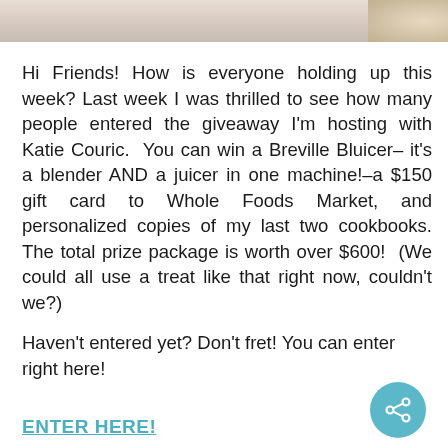[Figure (photo): Partial photo strip at top of page, light beige/cream toned image with what appears to be a hand or object at far right]
Hi Friends! How is everyone holding up this week? Last week I was thrilled to see how many people entered the giveaway I'm hosting with Katie Couric.  You can win a Breville Bluicer– it's a blender AND a juicer in one machine!–a $150 gift card to Whole Foods Market, and personalized copies of my last two cookbooks. The total prize package is worth over $600!  (We could all use a treat like that right now, couldn't we?)
Haven't entered yet? Don't fret! You can enter right here!
ENTER HERE!